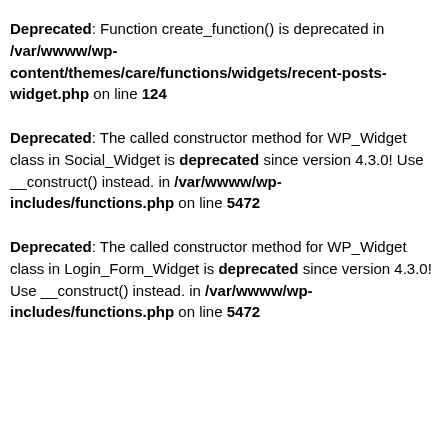Deprecated: Function create_function() is deprecated in /var/wwww/wp-content/themes/care/functions/widgets/recent-posts-widget.php on line 124
Deprecated: The called constructor method for WP_Widget class in Social_Widget is deprecated since version 4.3.0! Use __construct() instead. in /var/wwww/wp-includes/functions.php on line 5472
Deprecated: The called constructor method for WP_Widget class in Login_Form_Widget is deprecated since version 4.3.0! Use __construct() instead. in /var/wwww/wp-includes/functions.php on line 5472